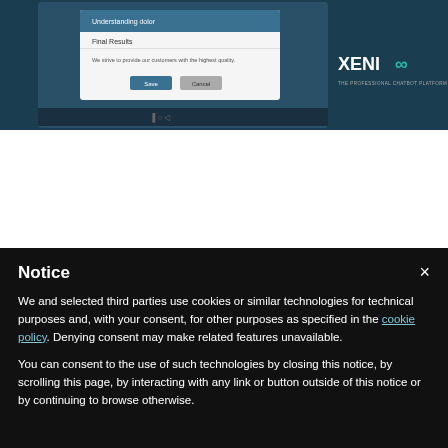[Figure (screenshot): Screenshot of a chatbot/dialog interface with Xenioo branding. Shows a dialog with 'Final Results' text and Save/Cancel buttons, on a dark blue background with the Xenioo logo on the right.]
4. Make Detailed Reservations
Notice  ×

We and selected third parties use cookies or similar technologies for technical purposes and, with your consent, for other purposes as specified in the cookie policy. Denying consent may make related features unavailable.

You can consent to the use of such technologies by closing this notice, by scrolling this page, by interacting with any link or button outside of this notice or by continuing to browse otherwise.